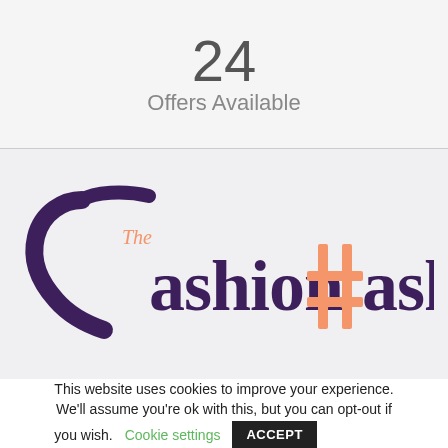24
Offers Available
[Figure (logo): The Fashion Hash logo — a stylized 'F' curl in dark purple followed by 'ashion' in dark purple serif, a salmon/orange hashtag symbol, then 'ash' in dark purple serif, with 'The' in small salmon text above the 'F'.]
This website uses cookies to improve your experience. We'll assume you're ok with this, but you can opt-out if you wish. Cookie settings ACCEPT